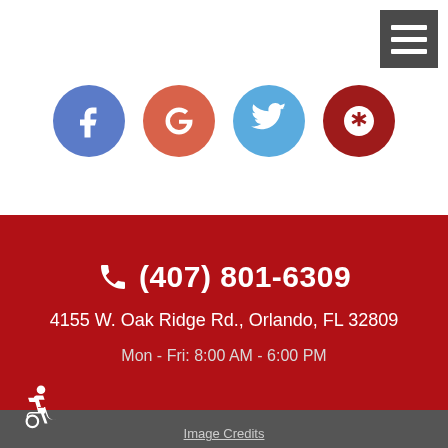[Figure (other): Hamburger menu icon (three horizontal lines on dark background), top right corner]
[Figure (other): Row of four social media icon circles: Facebook (blue), Google (orange-red), Twitter (light blue), Yelp (dark red)]
(407) 801-6309
4155 W. Oak Ridge Rd., Orlando, FL 32809
Mon - Fri: 8:00 AM - 6:00 PM
Image Credits
WEBSITE BY KUKUJI
4155 W. Oak Ridge Rd., Orlando, FL 32809 (407) 801-6309
[Figure (other): Wheelchair accessibility icon (white on dark background), bottom left]